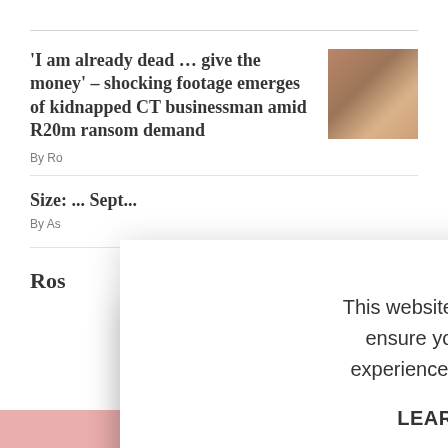'I am already dead ... give the money' – shocking footage emerges of kidnapped CT businessman amid R20m ransom demand
By Ro...
Size... Sept...
By As...
Ros...
[Figure (screenshot): Cookie consent modal overlay on a news website. Modal reads: 'This website uses cookies to ensure you get the best experience on our website. LEARN MORE.' with an 'ACCEPT COOKIES' button. Background shows partial news article headlines.]